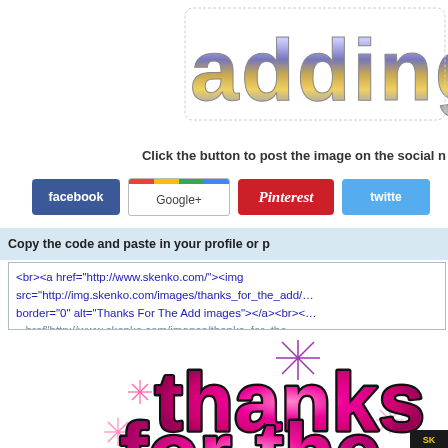[Figure (screenshot): Partial decorative header image showing stylized glittery/metallic text 'adding m...' cut off at right edge]
Click the button to post the image on the social n
[Figure (screenshot): Four social media share buttons: Facebook (blue), Google+ (with colored stripe), Pinterest (red, cursive), Twitter (light blue)]
Copy the code and paste in your profile or p
<br><a href="http://www.skenko.com/"><img src="http://img.skenko.com/images/thanks_for_the_add/... border="0" alt="Thanks For The Add images"></a><br><... href"http://www.skenko.com/images/thanks_for_the_...
[Figure (illustration): Decorative 'thanks for the' text in pink glittery graffiti style with sparkle star decorations, black outline shadow. Bottom of page shows partial 'thanks' and 'for the' text with sparkle stars around it. Small 'SK' badge in bottom right corner.]